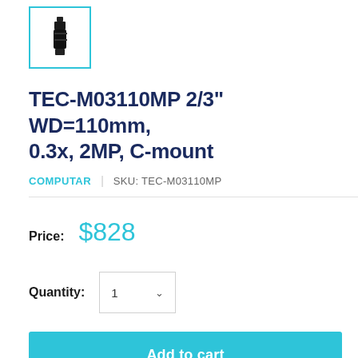[Figure (photo): Small thumbnail image of a black optical lens/C-mount lens on white background, shown in a teal-bordered box]
TEC-M03110MP 2/3" WD=110mm, 0.3x, 2MP, C-mount
COMPUTAR | SKU: TEC-M03110MP
Price: $828
Quantity: 1
Add to cart